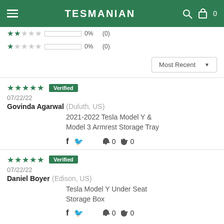TESMANIAN
2 stars 0% (0)
1 star 0% (0)
Most Recent sort dropdown
5 stars Verified — Govinda Agarwal (Duluth, US) — 07/22/22 — 2021-2022 Tesla Model Y & Model 3 Armrest Storage Tray — thumbs up 0 thumbs down 0
5 stars Verified — Daniel Boyer (Edison, US) — 07/22/22 — Tesla Model Y Under Seat Storage Box — thumbs up 0 thumbs down 0